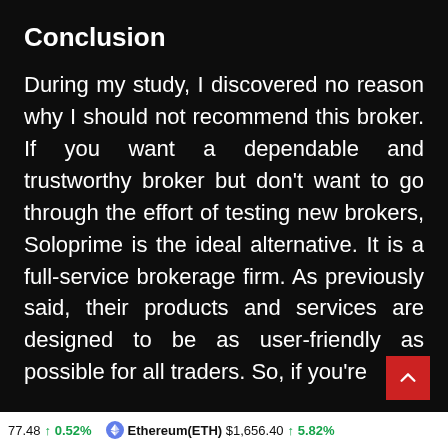Conclusion
During my study, I discovered no reason why I should not recommend this broker. If you want a dependable and trustworthy broker but don't want to go through the effort of testing new brokers, Soloprime is the ideal alternative. It is a full-service brokerage firm. As previously said, their products and services are designed to be as user-friendly as possible for all traders. So, if you're
77.48  ↑ 0.52%   Ethereum(ETH) $1,656.40  ↑ 5.82%